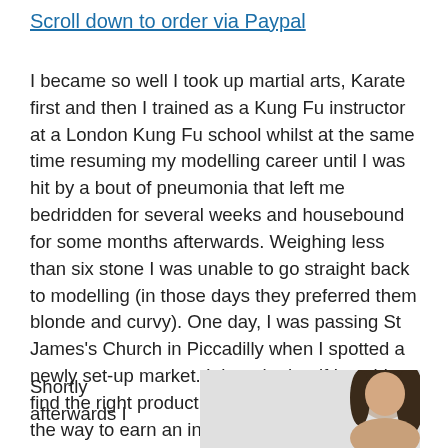Scroll down to order via Paypal
I became so well I took up martial arts, Karate first and then I trained as a Kung Fu instructor at a London Kung Fu school whilst at the same time resuming my modelling career until I was hit by a bout of pneumonia that left me bedridden for several weeks and housebound for some months afterwards. Weighing less than six stone I was unable to go straight back to modelling (in those days they preferred them blonde and curvy). One day, I was passing St James's Church in Piccadilly when I spotted a newly set-up market. I thought that if I could find the right product, a market stall might be the way to earn an income in the short term.
Shortly afterwards I
[Figure (photo): Partial photo of a woman with dark hair visible on the right side against a light grey background]